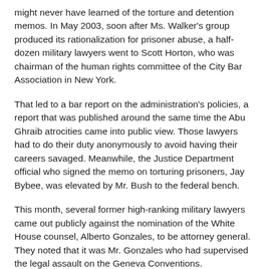might never have learned of the torture and detention memos. In May 2003, soon after Ms. Walker's group produced its rationalization for prisoner abuse, a half-dozen military lawyers went to Scott Horton, who was chairman of the human rights committee of the City Bar Association in New York.
That led to a bar report on the administration's policies, a report that was published around the same time the Abu Ghraib atrocities came into public view. Those lawyers had to do their duty anonymously to avoid having their careers savaged. Meanwhile, the Justice Department official who signed the memo on torturing prisoners, Jay Bybee, was elevated by Mr. Bush to the federal bench.
This month, several former high-ranking military lawyers came out publicly against the nomination of the White House counsel, Alberto Gonzales, to be attorney general. They noted that it was Mr. Gonzales who had supervised the legal assault on the Geneva Conventions.
Jeb Johnson, a New York lawyer who was general counsel